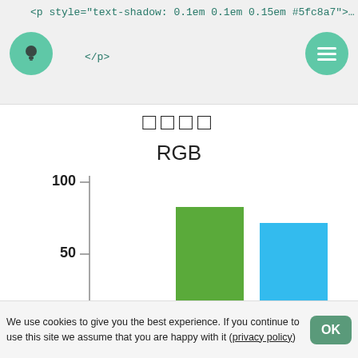<p style="text-shadow: 0.1em 0.1em 0.15em #5fc8a7">…
</p>
[Figure (bar-chart): □□□□ RGB]
We use cookies to give you the best experience. If you continue to use this site we assume that you are happy with it (privacy policy)